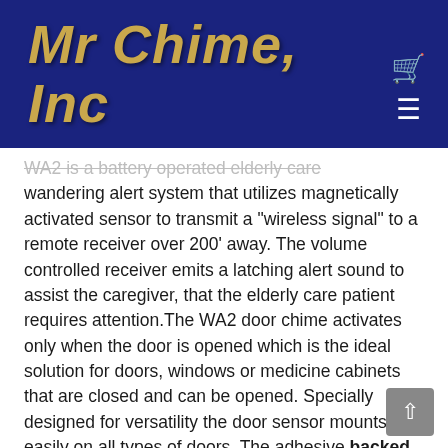Mr Chime, Inc
WA2 is a battery operated elderly care wandering alert system that utilizes magnetically activated sensor to transmit a "wireless signal" to a remote receiver over 200' away. The volume controlled receiver emits a latching alert sound to assist the caregiver, that the elderly care patient requires attention.The WA2 door chime activates only when the door is opened which is the ideal solution for doors, windows or medicine cabinets that are closed and can be opened. Specially designed for versatility the door sensor mounts easily on all types of doors. The adhesive backed Velcro ® fastening system makes